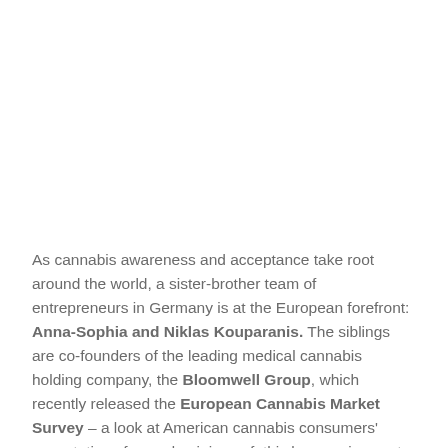As cannabis awareness and acceptance take root around the world, a sister-brother team of entrepreneurs in Germany is at the European forefront: Anna-Sophia and Niklas Kouparanis. The siblings are co-founders of the leading medical cannabis holding company, the Bloomwell Group, which recently released the European Cannabis Market Survey – a look at American cannabis consumers' expectations for, and opinions of, this burgeoning sector abroad.